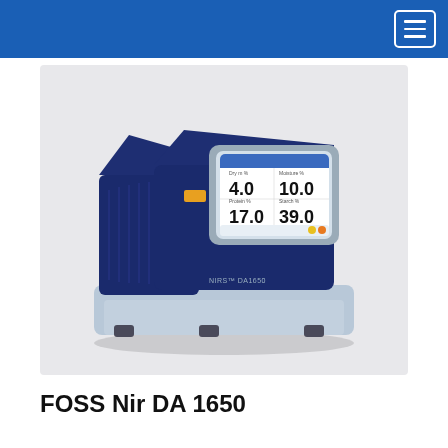[Figure (photo): FOSS Nir DA 1650 NIR analyzer instrument. A compact benchtop device with a dark navy blue body and light grey base. It features a touchscreen display showing four readings: 4.0, 10.0, 17.0, 39.0. The instrument has the label 'NIRS DA1650' on its side.]
FOSS Nir DA 1650